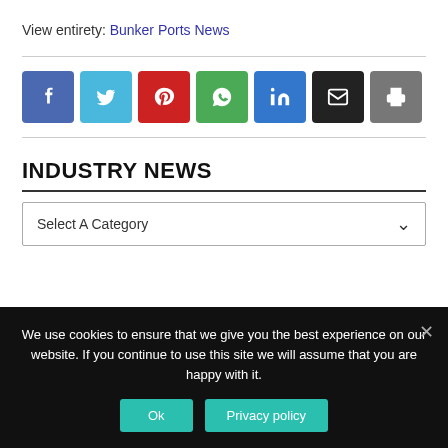View entirety: Bunker Ports News
[Figure (other): Social sharing buttons: Facebook (blue), Twitter (light blue), Pinterest (red), WhatsApp (green), LinkedIn (blue), Email (black), Print (gray)]
INDUSTRY NEWS
Select A Category
We use cookies to ensure that we give you the best experience on our website. If you continue to use this site we will assume that you are happy with it.
Ok
Privacy policy